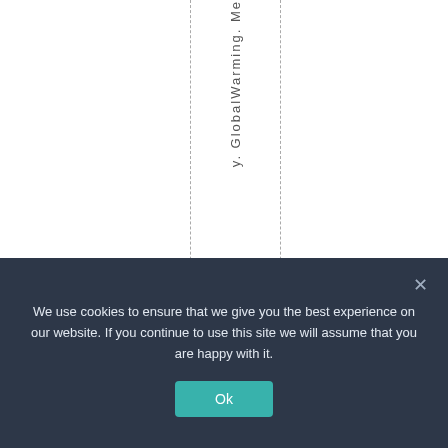y. GlobalWarming. Me...
We use cookies to ensure that we give you the best experience on our website. If you continue to use this site we will assume that you are happy with it.